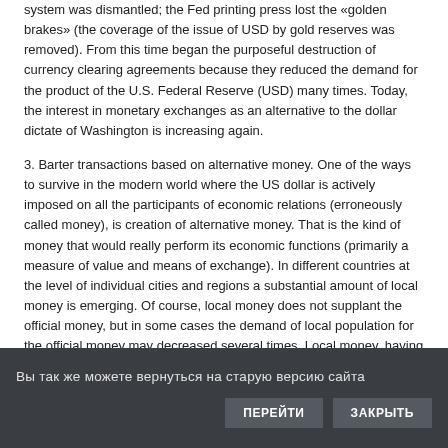system was dismantled; the Fed printing press lost the «golden brakes» (the coverage of the issue of USD by gold reserves was removed). From this time began the purposeful destruction of currency clearing agreements because they reduced the demand for the product of the U.S. Federal Reserve (USD) many times. Today, the interest in monetary exchanges as an alternative to the dollar dictate of Washington is increasing again.
3. Barter transactions based on alternative money. One of the ways to survive in the modern world where the US dollar is actively imposed on all the participants of economic relations (erroneously called money), is creation of alternative money. That is the kind of money that would really perform its economic functions (primarily a measure of value and means of exchange). In different countries at the level of individual cities and regions a substantial amount of local money is emerging. Of course, local money does not supplant the official money, but in some cases the demand of local population for the official money may decreased several times. Local money, having the form of paper money or computer entries, fuel the exchange of products of labor produced within the district. Among the large variety of alternative money it is worth to
Вы так же можете вернуться на старую версию сайта